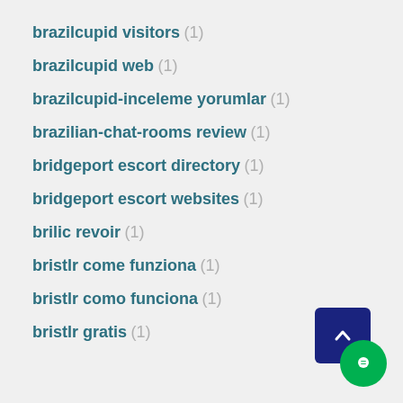brazilcupid visitors (1)
brazilcupid web (1)
brazilcupid-inceleme yorumlar (1)
brazilian-chat-rooms review (1)
bridgeport escort directory (1)
bridgeport escort websites (1)
brilic revoir (1)
bristlr come funziona (1)
bristlr como funciona (1)
bristlr gratis (1)